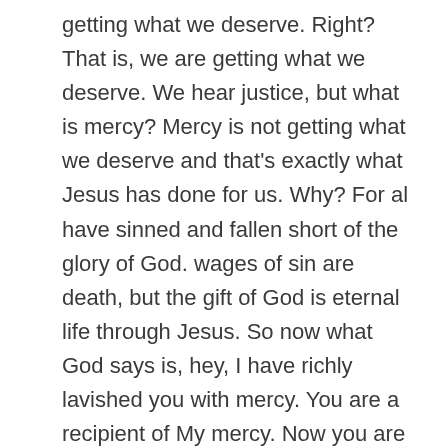getting what we deserve. Right? That is, we are getting what we deserve. We hear justice, but what is mercy? Mercy is not getting what we deserve and that's exactly what Jesus has done for us. Why? For al have sinned and fallen short of the glory of God. wages of sin are death, but the gift of God is eternal life through Jesus. So now what God says is, hey, I have richly lavished you with mercy. You are a recipient of My mercy. Now you are to be a dispenser of My mercy, a dispenser. And listen to me real closely, when we do not give mercy. We are being hypocritical, and we are being judgmental at the same time. We're being hypocritical because we're not giving something that God is so richly lavished or us. We're not living what we're preaching, right? But we're being judgmental in the fact that I'm looking at